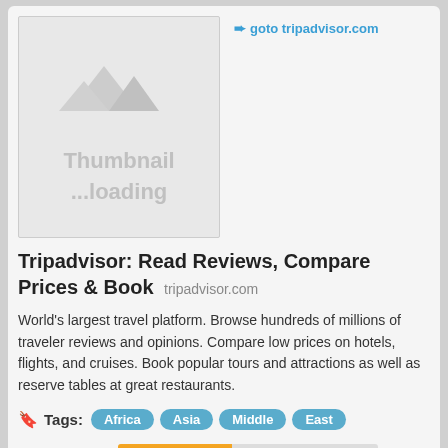[Figure (screenshot): Thumbnail placeholder with mountain silhouette icon and text 'Thumbnail ...loading']
goto tripadvisor.com
Tripadvisor: Read Reviews, Compare Prices & Book tripadvisor.com
World's largest travel platform. Browse hundreds of millions of traveler reviews and opinions. Compare low prices on hotels, flights, and cruises. Book popular tours and attractions as well as reserve tables at great restaurants.
Tags: Africa Asia Middle East
Similarity: 44%
Similar Websites to tripadvisor.com
[Figure (screenshot): Second card thumbnail placeholder with mountain silhouette icon]